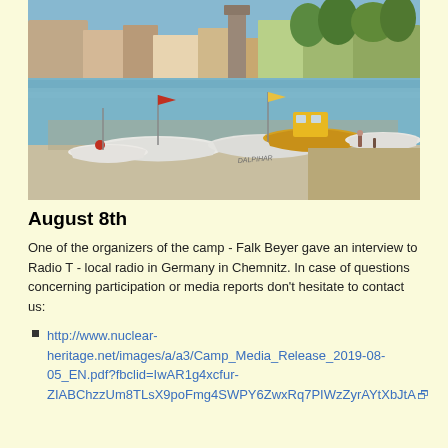[Figure (photo): Harbor scene with multiple white boats moored along a waterfront promenade. Buildings and trees visible in the background. One yellow boat with a cabin stands out among the white boats. People visible along the shore.]
August 8th
One of the organizers of the camp - Falk Beyer gave an interview to Radio T - local radio in Germany in Chemnitz. In case of questions concerning participation or media reports don't hesitate to contact us:
http://www.nuclear-heritage.net/images/a/a3/Camp_Media_Release_2019-08-05_EN.pdf?fbclid=IwAR1g4xcfur-ZIABChzzUm8TLsX9poFmg4SWPY6ZwxRq7PIWzZyrAYtXbJtA